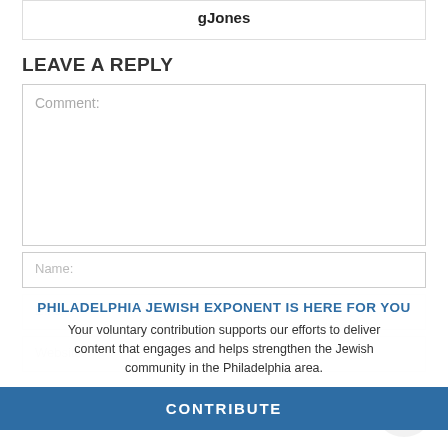gJones
LEAVE A REPLY
Comment:
PHILADELPHIA JEWISH EXPONENT IS HERE FOR YOU
Your voluntary contribution supports our efforts to deliver content that engages and helps strengthen the Jewish community in the Philadelphia area.
CONTRIBUTE
Name:
Email:
Website: